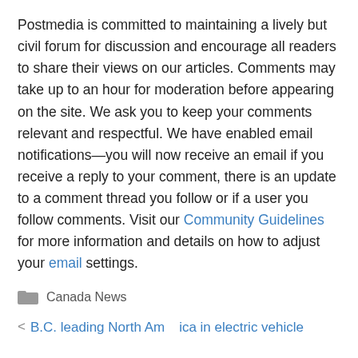Postmedia is committed to maintaining a lively but civil forum for discussion and encourage all readers to share their views on our articles. Comments may take up to an hour for moderation before appearing on the site. We ask you to keep your comments relevant and respectful. We have enabled email notifications—you will now receive an email if you receive a reply to your comment, there is an update to a comment thread you follow or if a user you follow comments. Visit our Community Guidelines for more information and details on how to adjust your email settings.
Canada News
< B.C. leading North America in electric vehicle